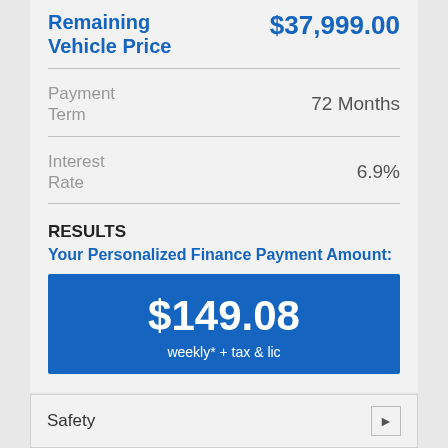Remaining Vehicle Price
Payment Term
Interest Rate
RESULTS
Your Personalized Finance Payment Amount:
$149.08
weekly* + tax & lic
Safety